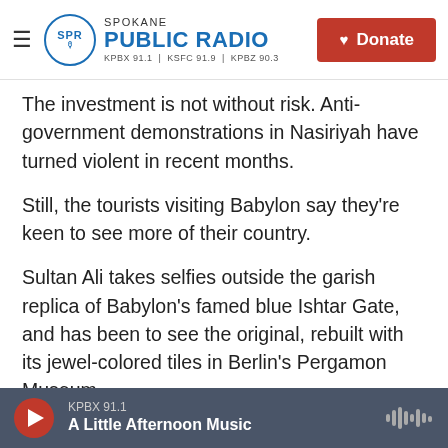Spokane Public Radio — KPBX 91.1 | KSFC 91.9 | KPBZ 90.3 — Donate
The investment is not without risk. Anti-government demonstrations in Nasiriyah have turned violent in recent months.
Still, the tourists visiting Babylon say they're keen to see more of their country.
Sultan Ali takes selfies outside the garish replica of Babylon's famed blue Ishtar Gate, and has been to see the original, rebuilt with its jewel-colored tiles in Berlin's Pergamon Museum.
"I felt actually sad," he says, "because this is our thing — our history, our civilization, our everything,
KPBX 91.1 — A Little Afternoon Music